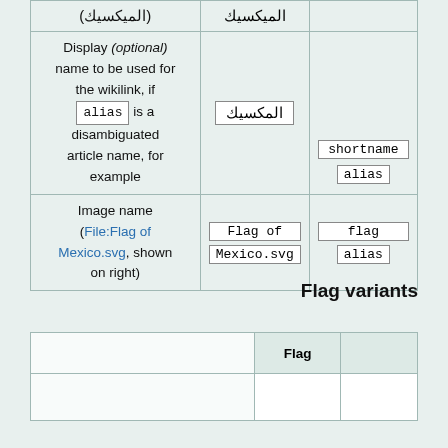|  |  |  |
| --- | --- | --- |
| (الميكسيك) | الميكسيك (Arabic text) |  |
| Display (optional) name to be used for the wikilink, if alias is a disambiguated article name, for example | المكسيك | shortname
alias |
| Image name (File:Flag of Mexico.svg, shown on right) | Flag of
Mexico.svg | flag
alias |
Flag variants
|  | Flag |  |
| --- | --- | --- |
|  |  |  |